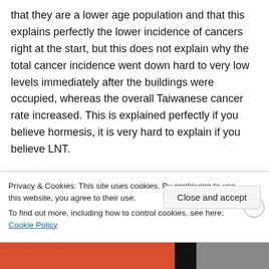that they are a lower age population and that this explains perfectly the lower incidence of cancers right at the start, but this does not explain why the total cancer incidence went down hard to very low levels immediately after the buildings were occupied, whereas the overall Taiwanese cancer rate increased. This is explained perfectly if you believe hormesis, it is very hard to explain if you believe LNT.
I read a lot of scientific work, thank you. Two weeks ago you did not know the difference
Privacy & Cookies: This site uses cookies. By continuing to use this website, you agree to their use.
To find out more, including how to control cookies, see here: Cookie Policy